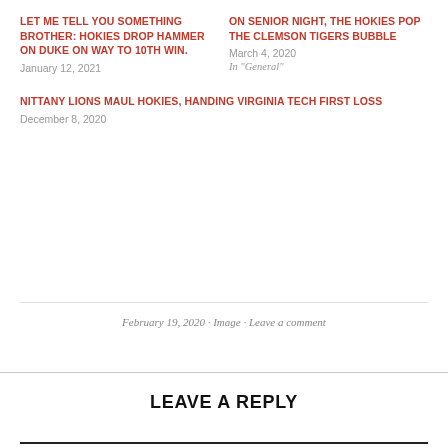LET ME TELL YOU SOMETHING BROTHER: HOKIES DROP HAMMER ON DUKE ON WAY TO 10TH WIN.
January 12, 2021
ON SENIOR NIGHT, THE HOKIES POP THE CLEMSON TIGERS BUBBLE
March 4, 2020
In “General”
NITTANY LIONS MAUL HOKIES, HANDING VIRGINIA TECH FIRST LOSS
December 8, 2020
February 19, 2020 · Image · Leave a comment
LEAVE A REPLY